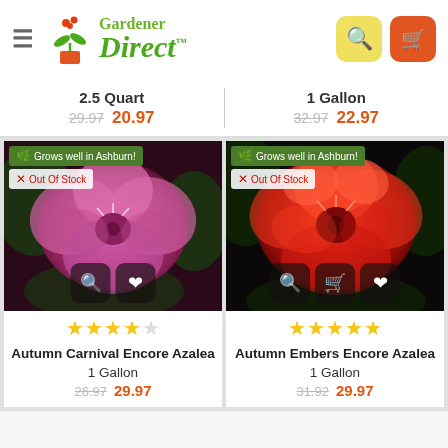Gardener Direct
2.5 Quart — 29.97 / 20.97 | 1 Gallon — 32.97 / 22.97
[Figure (photo): Pink azalea flower (Autumn Carnival Encore Azalea) with green badge 'Grows well in Ashburn!' and red badge 'Out Of Stock'. Action buttons: zoom and favorite.]
[Figure (photo): Red azalea flower (Autumn Embers Encore Azalea) with green badge 'Grows well in Ashburn!' and red badge 'Out Of Stock'. Action buttons: zoom, cart, and favorite.]
Autumn Carnival Encore Azalea
1 Gallon
26.97  29.97
Autumn Embers Encore Azalea
1 Gallon
31.92  29.97